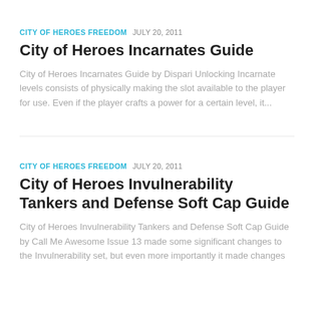CITY OF HEROES FREEDOM  JULY 20, 2011
City of Heroes Incarnates Guide
City of Heroes Incarnates Guide by Dispari Unlocking Incarnate levels consists of physically making the slot available to the player for use. Even if the player crafts a power for a certain level, it...
CITY OF HEROES FREEDOM  JULY 20, 2011
City of Heroes Invulnerability Tankers and Defense Soft Cap Guide
City of Heroes Invulnerability Tankers and Defense Soft Cap Guide by Call Me Awesome Issue 13 made some significant changes to the Invulnerability set, but even more importantly it made changes